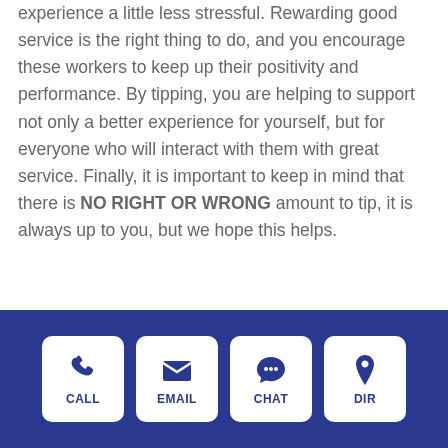experience a little less stressful. Rewarding good service is the right thing to do, and you encourage these workers to keep up their positivity and performance. By tipping, you are helping to support not only a better experience for yourself, but for everyone who will interact with them with great service. Finally, it is important to keep in mind that there is NO RIGHT OR WRONG amount to tip, it is always up to you, but we hope this helps.
[Figure (infographic): Dark blue footer bar with four white rounded-corner buttons: CALL (phone icon), EMAIL (envelope icon), CHAT (speech bubble icon), DIR (location pin icon)]